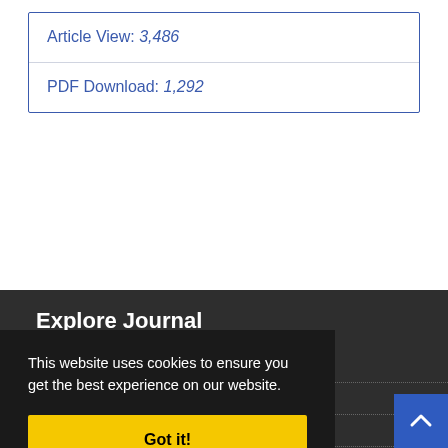Article View: 3,486
PDF Download: 1,292
Explore Journal
Home
About Journal
This website uses cookies to ensure you get the best experience on our website.
Got it!
Sitemap